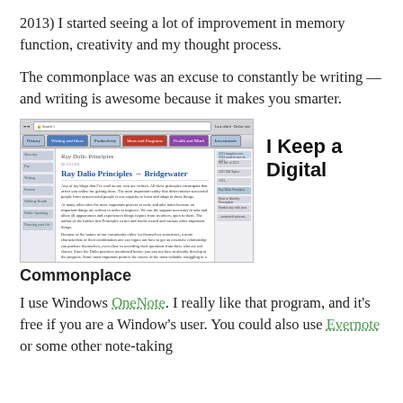2013) I started seeing a lot of improvement in memory function, creativity and my thought process.
The commonplace was an excuse to constantly be writing — and writing is awesome because it makes you smarter.
[Figure (screenshot): Screenshot of a Windows OneNote or web browser showing 'Ray Dalio Principles → Bridgewater' document page with sidebar navigation and text content]
I Keep a Digital
Commonplace
I use Windows OneNote. I really like that program, and it's free if you are a Window's user. You could also use Evernote or some other note-taking